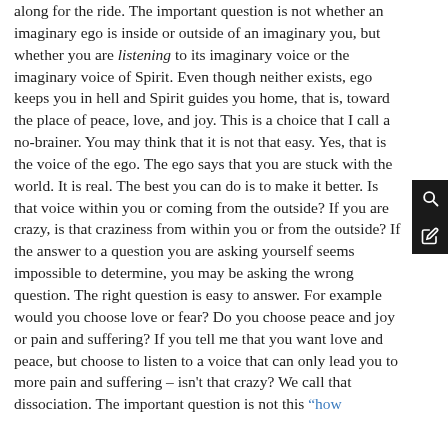along for the ride. The important question is not whether an imaginary ego is inside or outside of an imaginary you, but whether you are listening to its imaginary voice or the imaginary voice of Spirit. Even though neither exists, ego keeps you in hell and Spirit guides you home, that is, toward the place of peace, love, and joy. This is a choice that I call a no-brainer. You may think that it is not that easy. Yes, that is the voice of the ego. The ego says that you are stuck with the world. It is real. The best you can do is to make it better. Is that voice within you or coming from the outside? If you are crazy, is that craziness from within you or from the outside? If the answer to a question you are asking yourself seems impossible to determine, you may be asking the wrong question. The right question is easy to answer. For example would you choose love or fear? Do you choose peace and joy or pain and suffering? If you tell me that you want love and peace, but choose to listen to a voice that can only lead you to more pain and suffering – isn't that crazy? We call that dissociation. The important question is not this "how